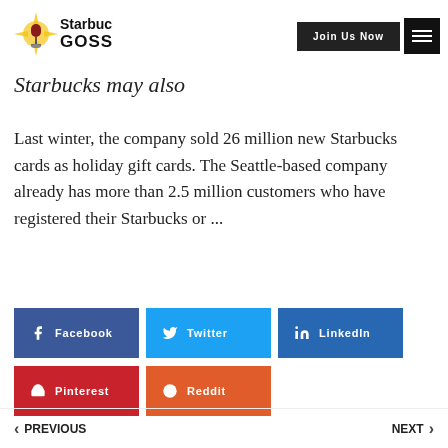[Figure (logo): Starbucks Gossip logo with microphone icon and starburst, text reading Starbucks GOSSIP]
Starbucks may also
Last winter, the company sold 26 million new Starbucks cards as holiday gift cards. The Seattle-based company already has more than 2.5 million customers who have registered their Starbucks or ...
Facebook
Twitter
LinkedIn
Pinterest
Reddit
PREVIOUS
NEXT